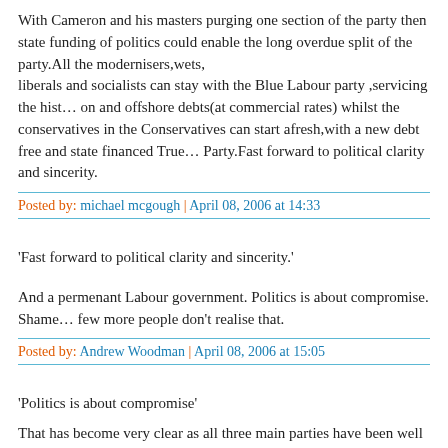With Cameron and his masters purging one section of the party then state funding of politics could enable the long overdue split of the party.All the modernisers,wets, liberals and socialists can stay with the Blue Labour party ,servicing the hist… on and offshore debts(at commercial rates) whilst the conservatives in the Conservatives can start afresh,with a new debt free and state financed True… Party.Fast forward to political clarity and sincerity.
Posted by: michael mcgough | April 08, 2006 at 14:33
'Fast forward to political clarity and sincerity.'
And a permenant Labour government. Politics is about compromise. Shame… few more people don't realise that.
Posted by: Andrew Woodman | April 08, 2006 at 15:05
'Politics is about compromise'
That has become very clear as all three main parties have been well and tru… compromised over loans-----especially the offshore ones.
'Permanent Labour Government'
If Cameron keeps supporting Tony and Gordon yes…